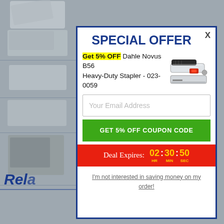[Figure (screenshot): Background e-commerce product page with gray background and stapler product images on the left side, with partial 'Rela' text visible at bottom left]
SPECIAL OFFER
Get 5% OFF Dahle Novus B56 Heavy-Duty Stapler - 023-0059
[Figure (photo): Dahle Novus B56 Heavy-Duty Stapler product image - black and white/silver heavy duty stapler]
Your Email Address
GET 5% OFF COUPON CODE
Deal Expires: 02 : 30 : 50 HR MIN SEC
I'm not interested in saving money on my order!